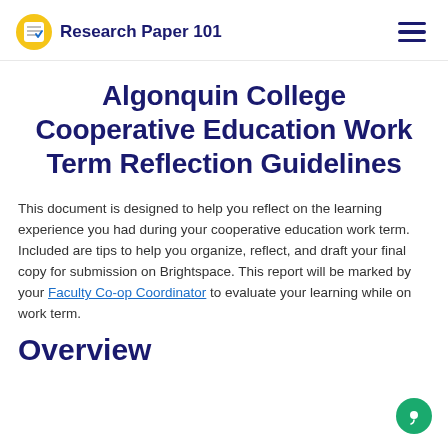Research Paper 101
Algonquin College Cooperative Education Work Term Reflection Guidelines
This document is designed to help you reflect on the learning experience you had during your cooperative education work term. Included are tips to help you organize, reflect, and draft your final copy for submission on Brightspace. This report will be marked by your Faculty Co-op Coordinator to evaluate your learning while on work term.
Overview